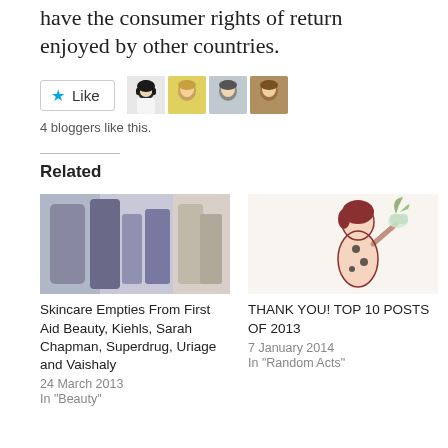have the consumer rights of return enjoyed by other countries.
[Figure (photo): Like button with star icon and 4 blogger avatar thumbnails]
4 bloggers like this.
Related
[Figure (photo): Photo of skincare product bottles and tubes]
Skincare Empties From First Aid Beauty, Kiehls, Sarah Chapman, Superdrug, Uriage and Vaishaly
24 March 2013
In "Beauty"
[Figure (illustration): Stylized illustration of a woman with short red hair holding a glass with a plant]
THANK YOU! TOP 10 POSTS OF 2013
7 January 2014
In "Random Acts"